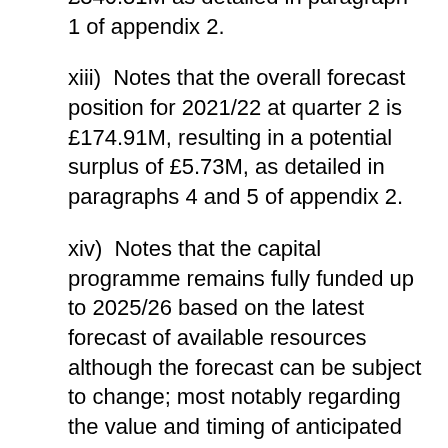£340.31M as detailed in paragraph 1 of appendix 2.
xiii)  Notes that the overall forecast position for 2021/22 at quarter 2 is £174.91M, resulting in a potential surplus of £5.73M, as detailed in paragraphs 4 and 5 of appendix 2.
xiv)  Notes that the capital programme remains fully funded up to 2025/26 based on the latest forecast of available resources although the forecast can be subject to change; most notably regarding the value and timing of anticipated capital receipts and the use of prudent